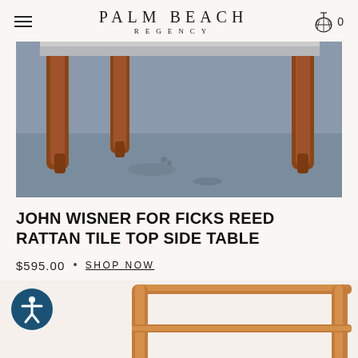PALM BEACH REGENCY
[Figure (photo): Close-up photo of rattan table legs on concrete floor, viewed from below/side angle showing dark reddish-brown bamboo/rattan legs]
JOHN WISNER FOR FICKS REED RATTAN TILE TOP SIDE TABLE
$595.00 • SHOP NOW
[Figure (photo): Bottom portion of product photo showing rattan table frame/legs from a front angle on light background, with accessibility icon button overlay]